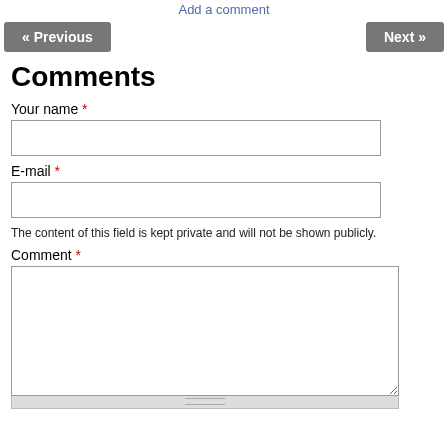Add a comment
« Previous
Next »
Comments
Your name *
E-mail *
The content of this field is kept private and will not be shown publicly.
Comment *